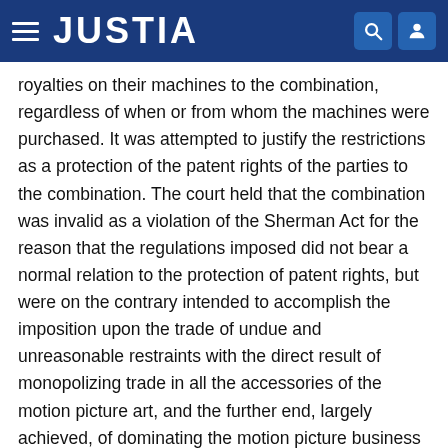JUSTIA
royalties on their machines to the combination, regardless of when or from whom the machines were purchased. It was attempted to justify the restrictions as a protection of the patent rights of the parties to the combination. The court held that the combination was invalid as a violation of the Sherman Act for the reason that the regulations imposed did not bear a normal relation to the protection of patent rights, but were on the contrary intended to accomplish the imposition upon the trade of undue and unreasonable restraints with the direct result of monopolizing trade in all the accessories of the motion picture art, and the further end, largely achieved, of dominating the motion picture business itself. District Judge Dickinson, who wrote the opinion, pointed out that the right to make, use and vend the subject matter of a patent is the natural right of an inventor and that what the patent law does is to